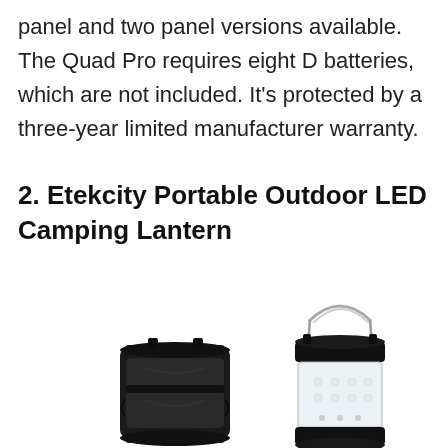panel and two panel versions available. The Quad Pro requires eight D batteries, which are not included. It's protected by a three-year limited manufacturer warranty.
2. Etekcity Portable Outdoor LED Camping Lantern
[Figure (photo): Two Etekcity portable LED camping lanterns. The left lantern is a compact black collapsed cylindrical lantern. The right lantern is taller with an extended metal wire handle at the top and a transparent cylindrical body showing LEDs inside, with a black top and bottom.]